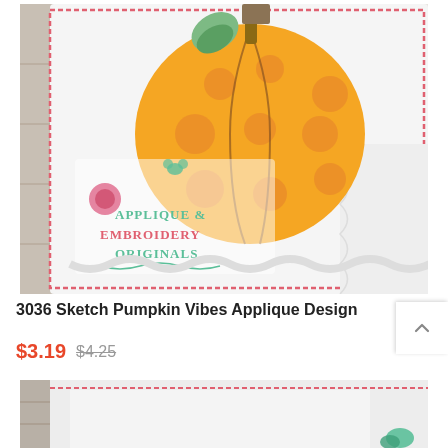[Figure (photo): Product photo of a white children's ruffled shirt with an orange polka-dot pumpkin applique and sketch embroidery design. The image has a decorative pink zig-zag stitched border. A watermark reads 'Applique & Embroidery Originals' with floral decorations.]
3036 Sketch Pumpkin Vibes Applique Design
$3.19   $4.25
[Figure (photo): Partially visible product photo at the bottom of the page, showing the top edge of another white garment on a wooden surface with a small teal/green applique element visible.]